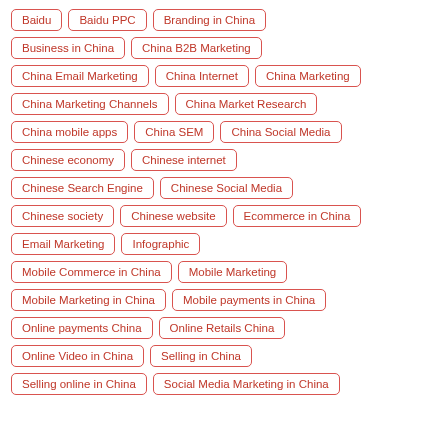Baidu
Baidu PPC
Branding in China
Business in China
China B2B Marketing
China Email Marketing
China Internet
China Marketing
China Marketing Channels
China Market Research
China mobile apps
China SEM
China Social Media
Chinese economy
Chinese internet
Chinese Search Engine
Chinese Social Media
Chinese society
Chinese website
Ecommerce in China
Email Marketing
Infographic
Mobile Commerce in China
Mobile Marketing
Mobile Marketing in China
Mobile payments in China
Online payments China
Online Retails China
Online Video in China
Selling in China
Selling online in China
Social Media Marketing in China